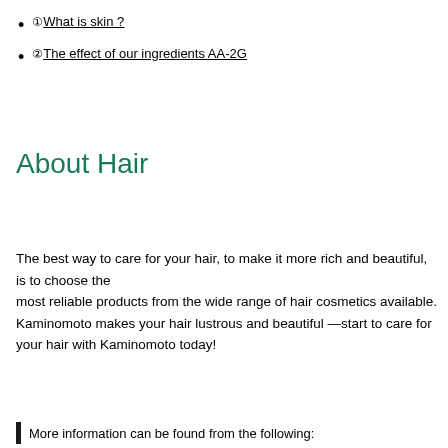① What is skin ?
② The effect of our ingredients AA-2G
About Hair
The best way to care for your hair, to make it more rich and beautiful, is to choose the most reliable products from the wide range of hair cosmetics available. Kaminomoto makes your hair lustrous and beautiful ―start to care for your hair with Kaminomoto today!
More information can be found from the following: